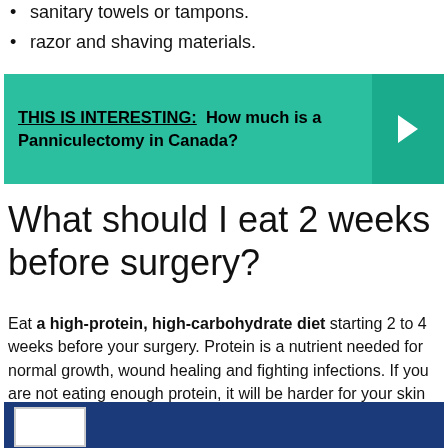sanitary towels or tampons.
razor and shaving materials.
[Figure (infographic): Teal/green banner with text 'THIS IS INTERESTING: How much is a Panniculectomy in Canada?' and a right-arrow chevron on the right side in a darker teal box.]
What should I eat 2 weeks before surgery?
Eat a high-protein, high-carbohydrate diet starting 2 to 4 weeks before your surgery. Protein is a nutrient needed for normal growth, wound healing and fighting infections. If you are not eating enough protein, it will be harder for your skin to heal.
[Figure (photo): Blue banner at bottom of page with a small white-bordered image placeholder on the left side.]